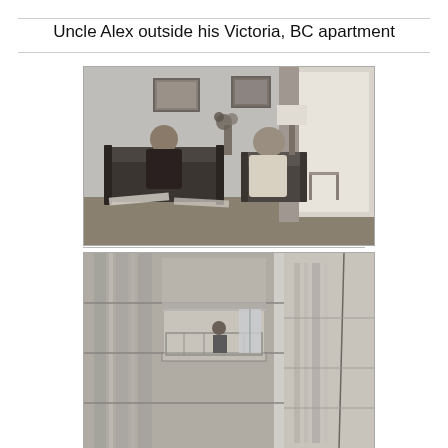Uncle Alex outside his Victoria, BC apartment
[Figure (photo): Black and white photograph of two people seated in a living room interior. A woman sits on a sofa on the left, and an older man sits in an armchair on the right. Two framed pictures hang on the wall behind them, and a floor lamp and curtained window are visible in the background.]
[Figure (photo): Black and white photograph of the exterior facade of an apartment building, showing balconies and windows. A figure can be seen standing on one of the balconies.]